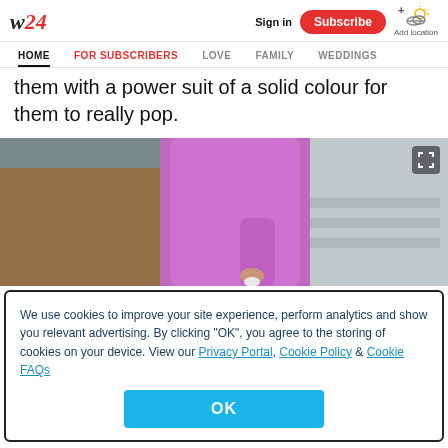W24 | Sign in | Subscribe | Add location
HOME | FOR SUBSCRIBERS | LOVE | FAMILY | WEDDINGS
them with a power suit of a solid colour for them to really pop.
[Figure (photo): Person wearing a purple/magenta oversized suit, holding a white bag, standing outdoors near benches]
We use cookies to improve your site experience, perform analytics and show you relevant advertising. By clicking "OK", you agree to the storing of cookies on your device. View our Privacy Portal, Cookie Policy & Cookie FAQs